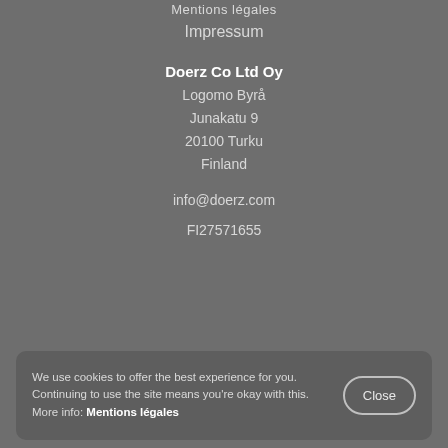Mentions légales
Impressum
Doerz Co Ltd Oy
Logomo Byrå
Junakatu 9
20100 Turku
Finland
info@doerz.com
FI27571655
We use cookies to offer the best experience for you. Continuing to use the site means you're okay with this. More info: Mentions légales